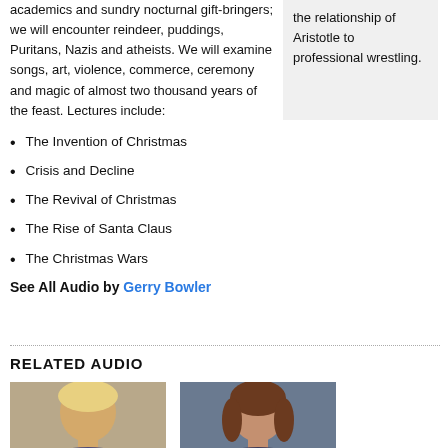academics and sundry nocturnal gift-bringers; we will encounter reindeer, puddings, Puritans, Nazis and atheists. We will examine songs, art, violence, commerce, ceremony and magic of almost two thousand years of the feast. Lectures include:
the relationship of Aristotle to professional wrestling.
The Invention of Christmas
Crisis and Decline
The Revival of Christmas
The Rise of Santa Claus
The Christmas Wars
See All Audio by Gerry Bowler
RELATED AUDIO
[Figure (photo): Headshot of a person with light hair]
[Figure (photo): Headshot of a person with medium-length brown hair]